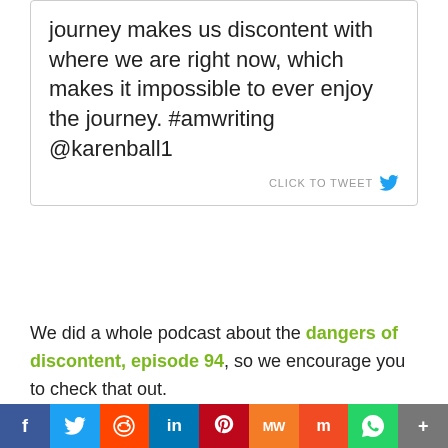journey makes us discontent with where we are right now, which makes it impossible to ever enjoy the journey. #amwriting @karenball1
CLICK TO TWEET
We did a whole podcast about the dangers of discontent, episode 94, so we encourage you to check that out.
Erin heard a quote somewhere that went something like: “Yesterday is history, tomorrow is mystery.” All you really know you have is right now, and if you can’t enjoy it, how can you ever be